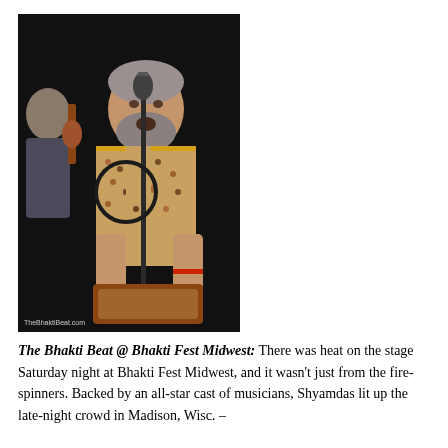[Figure (photo): A bearded man singing at a microphone on stage, wearing a patterned shirt with gold trim, performing at Bhakti Fest Midwest. Another musician with a violin is visible in the background. Dark stage lighting. Watermark reads 'TheBhaktiBeat.com'.]
The Bhakti Beat @ Bhakti Fest Midwest:  There was heat on the stage Saturday night at Bhakti Fest Midwest, and it wasn't just from the fire-spinners.  Backed by an all-star cast of musicians, Shyamdas lit up the late-night crowd in Madison, Wisc. – along having a before show puja with Krishna Turus, and his...